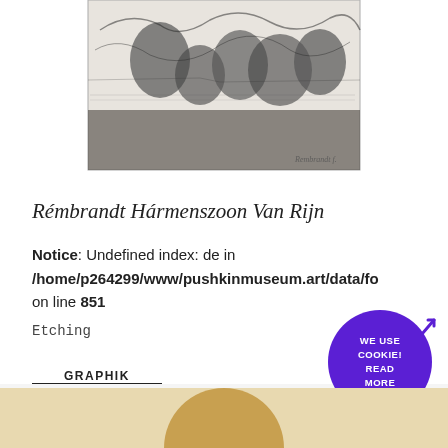[Figure (illustration): Black and white etching showing a group of figures in a crowded scene, partially cropped at top]
Rémbrandt Hármenszoon Van Rijn
Notice: Undefined index: de in /home/p264299/www/pushkinmuseum.art/data/fo on line 851
Etching
GRAPHIK
[Figure (photo): Bottom portion of page showing a beige/tan oval shape suggesting the top of a portrait head, partially visible]